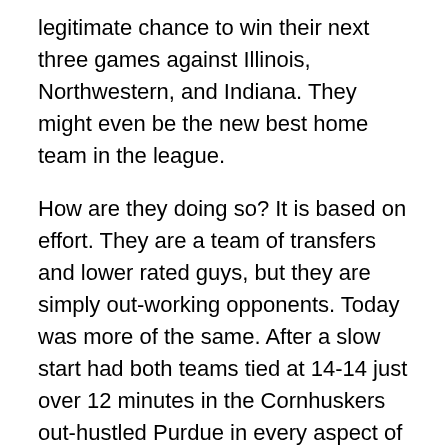legitimate chance to win their next three games against Illinois, Northwestern, and Indiana. They might even be the new best home team in the league.
How are they doing so? It is based on effort. They are a team of transfers and lower rated guys, but they are simply out-working opponents. Today was more of the same. After a slow start had both teams tied at 14-14 just over 12 minutes in the Cornhuskers out-hustled Purdue in every aspect of the game.
That is what is most troubling about our Boilermakers. This is a common refrain this season and this recap really could be a reprint of the losses to Butler, Washington State, Northwestern, Penn State, or Minnesota. There is no question Purdue has great talent. There are nine four-star players on the roster